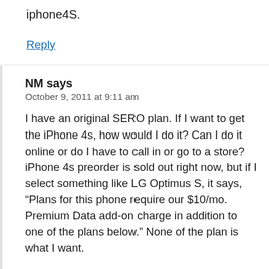iphone4S.
Reply
NM says
October 9, 2011 at 9:11 am
I have an original SERO plan. If I want to get the iPhone 4s, how would I do it? Can I do it online or do I have to call in or go to a store? iPhone 4s preorder is sold out right now, but if I select something like LG Optimus S, it says, “Plans for this phone require our $10/mo. Premium Data add-on charge in addition to one of the plans below.” None of the plan is what I want.
It also says ,“After you receive your new phone, you can activate it online. If you don’t already have one of the data plans we offer today, you’ll need to select one of the data plans listed below.